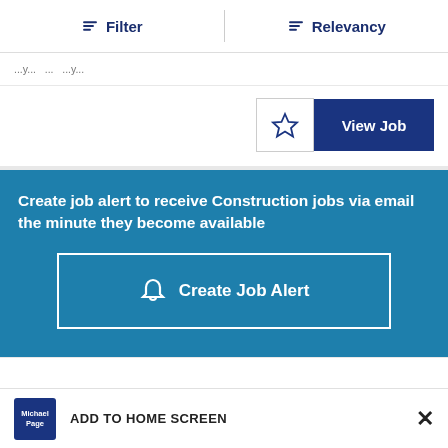Filter   Relevancy
...apply...
[Figure (screenshot): Star (favourite) button and View Job button]
Create job alert to receive Construction jobs via email the minute they become available
Create Job Alert
ADD TO HOME SCREEN